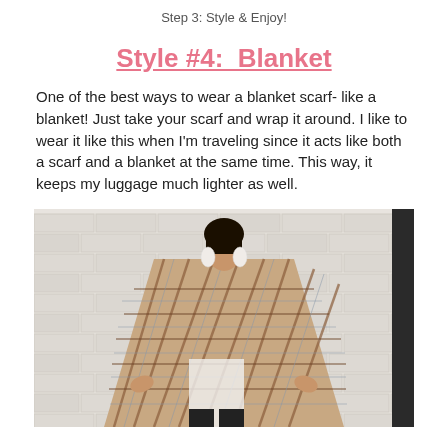Step 3: Style & Enjoy!
Style #4:  Blanket
One of the best ways to wear a blanket scarf- like a blanket!  Just take your scarf and wrap it around.  I like to wear it like this when I'm traveling since it acts like both a scarf and a blanket at the same time.  This way, it keeps my luggage much lighter as well.
[Figure (photo): Woman wearing a large plaid blanket scarf wrapped around her like a blanket, standing in front of a white brick wall]